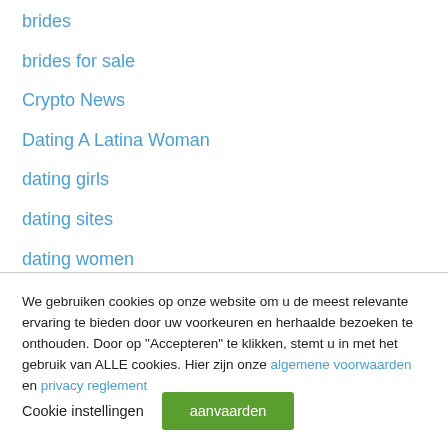brides
brides for sale
Crypto News
Dating A Latina Woman
dating girls
dating sites
dating women
filipino brides
We gebruiken cookies op onze website om u de meest relevante ervaring te bieden door uw voorkeuren en herhaalde bezoeken te onthouden. Door op "Accepteren" te klikken, stemt u in met het gebruik van ALLE cookies. Hier zijn onze algemene voorwaarden en privacy reglement
Cookie instellingen    aanvaarden